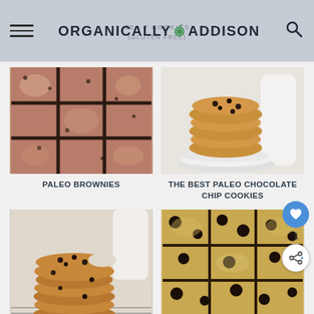ORGANICALLY ADDISON
[Figure (photo): Close-up of paleo brownies cut into squares, chocolatey with crackled top]
PALEO BROWNIES
[Figure (photo): Stack of paleo chocolate chip cookies on white plates with milk bottle in background]
THE BEST PALEO CHOCOLATE CHIP COOKIES
[Figure (photo): Stack of chocolate chip cookies, one with a bite taken out]
[Figure (photo): Overhead view of paleo blondies with chocolate chips cut into squares]